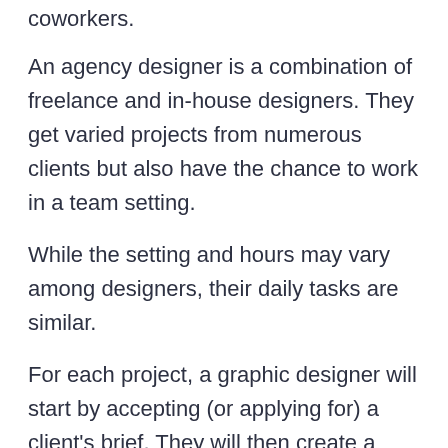coworkers.
An agency designer is a combination of freelance and in-house designers. They get varied projects from numerous clients but also have the chance to work in a team setting.
While the setting and hours may vary among designers, their daily tasks are similar.
For each project, a graphic designer will start by accepting (or applying for) a client's brief. They will then create a